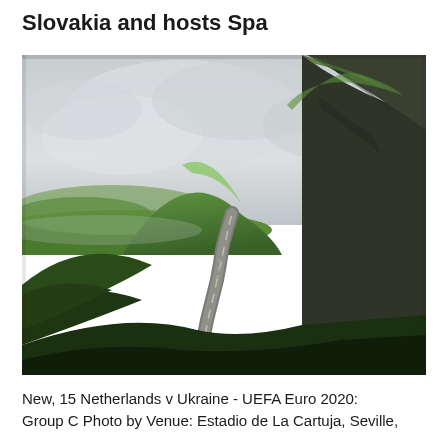Slovakia and hosts Spa
[Figure (photo): A winding mountain road through dramatic green highland landscape with rocky cliffs and misty overcast sky]
New, 15 Netherlands v Ukraine - UEFA Euro 2020: Group C Photo by Venue: Estadio de La Cartuja, Seville,